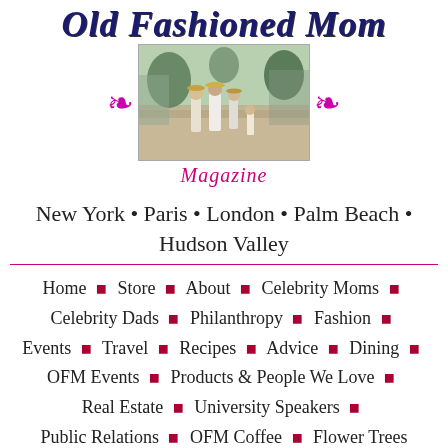Old Fashioned Mom Magazine
New York • Paris • London • Palm Beach • Hudson Valley
Home ◆ Store ◆ About ◆ Celebrity Moms ◆ Celebrity Dads ◆ Philanthropy ◆ Fashion ◆ Events ◆ Travel ◆ Recipes ◆ Advice ◆ Dining ◆ OFM Events ◆ Products & People We Love ◆ Real Estate ◆ University Speakers ◆ Public Relations ◆ OFM Coffee ◆ Flower Trees
Posts Tagged 'Knight'